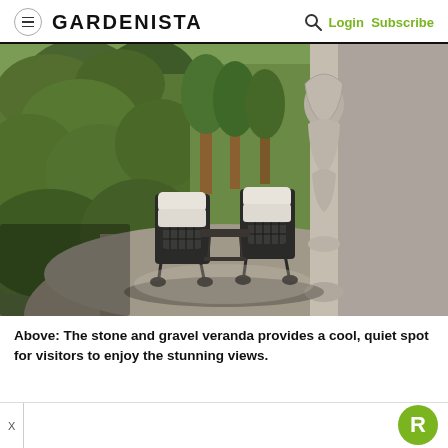GARDENISTA  Login Subscribe
[Figure (photo): A stone and gravel veranda with wrought iron chairs with white cushions, surrounded by tall green hedges and a decorative stone column with ornate carvings.]
Above: The stone and gravel veranda provides a cool, quiet spot for visitors to enjoy the stunning views.